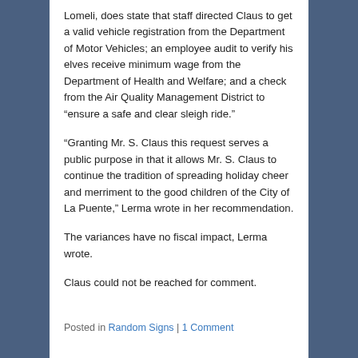Lomeli, does state that staff directed Claus to get a valid vehicle registration from the Department of Motor Vehicles; an employee audit to verify his elves receive minimum wage from the Department of Health and Welfare; and a check from the Air Quality Management District to “ensure a safe and clear sleigh ride.”
“Granting Mr. S. Claus this request serves a public purpose in that it allows Mr. S. Claus to continue the tradition of spreading holiday cheer and merriment to the good children of the City of La Puente,” Lerma wrote in her recommendation.
The variances have no fiscal impact, Lerma wrote.
Claus could not be reached for comment.
Posted in Random Signs | 1 Comment